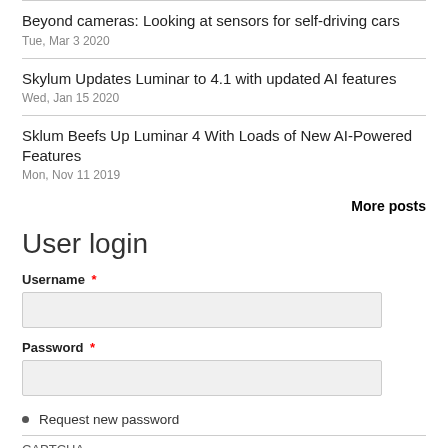Beyond cameras: Looking at sensors for self-driving cars
Tue, Mar 3 2020
Skylum Updates Luminar to 4.1 with updated AI features
Wed, Jan 15 2020
Sklum Beefs Up Luminar 4 With Loads of New AI-Powered Features
Mon, Nov 11 2019
More posts
User login
Username *
Password *
Request new password
CAPTCHA